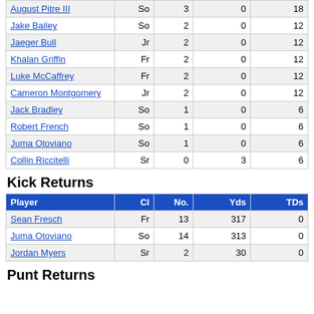| Player | Cl | No. | Yds | TDs |
| --- | --- | --- | --- | --- |
| August Pitre III | So | 3 | 0 | 18 |
| Jake Bailey | So | 2 | 0 | 12 |
| Jaeger Bull | Jr | 2 | 0 | 12 |
| Khalan Griffin | Fr | 2 | 0 | 12 |
| Luke McCaffrey | Fr | 2 | 0 | 12 |
| Cameron Montgomery | Jr | 2 | 0 | 12 |
| Jack Bradley | So | 1 | 0 | 6 |
| Robert French | So | 1 | 0 | 6 |
| Juma Otoviano | So | 1 | 0 | 6 |
| Collin Riccitelli | Sr | 0 | 3 | 6 |
Kick Returns
| Player | Cl | No. | Yds | TDs |
| --- | --- | --- | --- | --- |
| Sean Fresch | Fr | 13 | 317 | 0 |
| Juma Otoviano | So | 14 | 313 | 0 |
| Jordan Myers | Sr | 2 | 30 | 0 |
Punt Returns